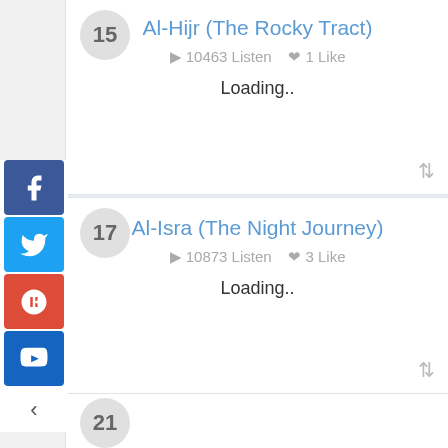15
Al-Hijr (The Rocky Tract)
10463 Listen   1 Like
Loading..
17
Al-Isra (The Night Journey)
10873 Listen   3 Like
Loading..
21